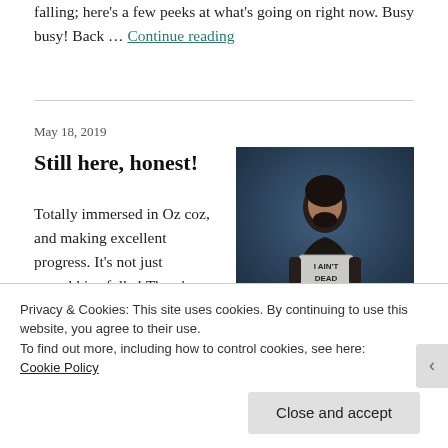falling; here's a few peeks at what's going on right now. Busy busy! Back … Continue reading
May 18, 2019
Still here, honest!
[Figure (photo): A person in dark clothing holding a sign that reads 'I AIN'T DEAD', styled like a Game of Thrones character in a blueish night scene.]
Totally immersed in Oz coz, and making excellent progress.  It's not just munchkins folks!  There's more than 20 kids involved, as the show ia largely double-cast, and the dancers/extras are all
Privacy & Cookies: This site uses cookies. By continuing to use this website, you agree to their use.
To find out more, including how to control cookies, see here: Cookie Policy
Close and accept